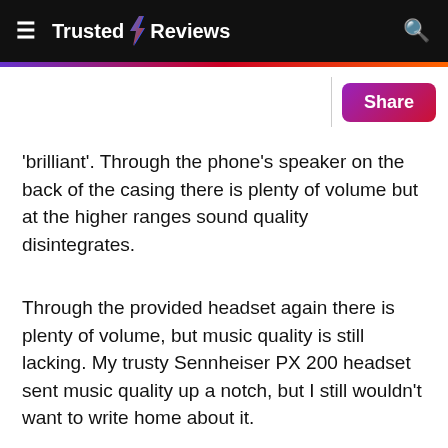Trusted Reviews
[Figure (other): Share button with purple-to-red gradient]
'brilliant'. Through the phone's speaker on the back of the casing there is plenty of volume but at the higher ranges sound quality disintegrates.
Through the provided headset again there is plenty of volume, but music quality is still lacking. My trusty Sennheiser PX 200 headset sent music quality up a notch, but I still wouldn't want to write home about it.
There is an equaliser with several presets and two settings you can make for yourself, but even tweaking this the quality of output doesn't approach what you'll get from a